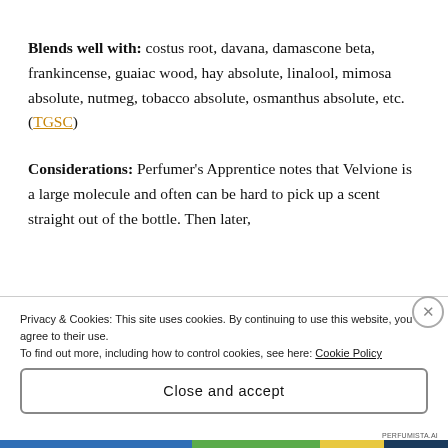Blends well with: costus root, davana, damascone beta, frankincense, guaiac wood, hay absolute, linalool, mimosa absolute, nutmeg, tobacco absolute, osmanthus absolute, etc. (TGSC)
Considerations: Perfumer's Apprentice notes that Velvione is a large molecule and often can be hard to pick up a scent straight out of the bottle. Then later,
Privacy & Cookies: This site uses cookies. By continuing to use this website, you agree to their use.
To find out more, including how to control cookies, see here: Cookie Policy
Close and accept